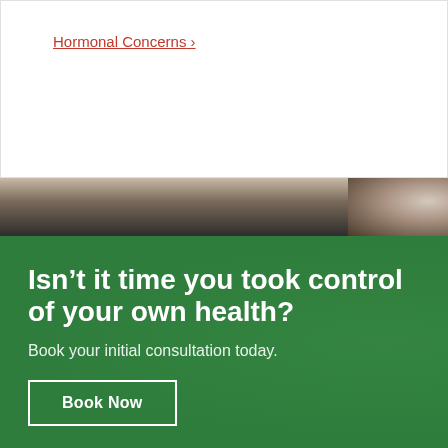Hormonal Concerns >
[Figure (photo): Cropped photo strip showing dark hair and clothing, partial view of a person]
Isn't it time you took control of your own health?
Book your initial consultation today.
Book Now